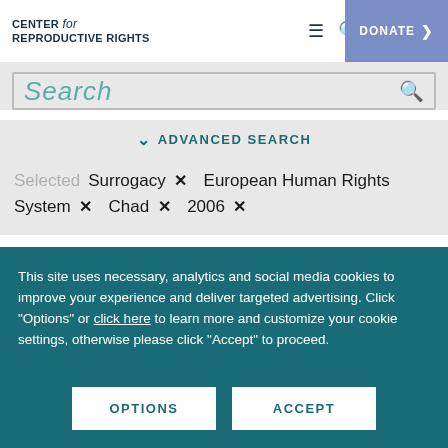CENTER for REPRODUCTIVE RIGHTS
Search
ADVANCED SEARCH
Selected  Surrogacy ×  European Human Rights System ×  Chad ×  2006 ×
This site uses necessary, analytics and social media cookies to improve your experience and deliver targeted advertising. Click "Options" or click here to learn more and customize your cookie settings, otherwise please click "Accept" to proceed.
OPTIONS
ACCEPT